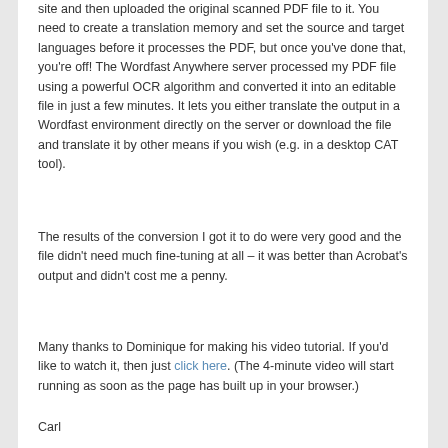site and then uploaded the original scanned PDF file to it. You need to create a translation memory and set the source and target languages before it processes the PDF, but once you've done that, you're off! The Wordfast Anywhere server processed my PDF file using a powerful OCR algorithm and converted it into an editable file in just a few minutes. It lets you either translate the output in a Wordfast environment directly on the server or download the file and translate it by other means if you wish (e.g. in a desktop CAT tool).
The results of the conversion I got it to do were very good and the file didn't need much fine-tuning at all – it was better than Acrobat's output and didn't cost me a penny.
Many thanks to Dominique for making his video tutorial. If you'd like to watch it, then just click here. (The 4-minute video will start running as soon as the page has built up in your browser.)
Carl